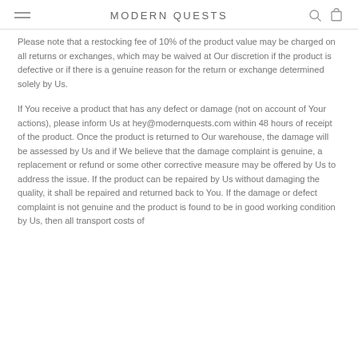MODERN QUESTS
Please note that a restocking fee of 10% of the product value may be charged on all returns or exchanges, which may be waived at Our discretion if the product is defective or if there is a genuine reason for the return or exchange determined solely by Us.
If You receive a product that has any defect or damage (not on account of Your actions), please inform Us at hey@modernquests.com within 48 hours of receipt of the product. Once the product is returned to Our warehouse, the damage will be assessed by Us and if We believe that the damage complaint is genuine, a replacement or refund or some other corrective measure may be offered by Us to address the issue. If the product can be repaired by Us without damaging the quality, it shall be repaired and returned back to You. If the damage or defect complaint is not genuine and the product is found to be in good working condition by Us, then all transport costs of